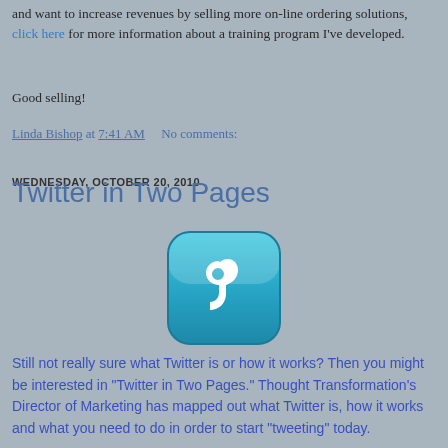and want to increase revenues by selling more on-line ordering solutions, click here for more information about a training program I've developed.
Good selling!
Linda Bishop at 7:41 AM   No comments:
WEDNESDAY, OCTOBER 20, 2010
Twitter in Two Pages
[Figure (logo): Twitter bird logo icon — a blue rounded square button with a white stylized bird/letter 't' Twitter logo]
Still not really sure what Twitter is or how it works? Then you might be interested in "Twitter in Two Pages." Thought Transformation's Director of Marketing has mapped out what Twitter is, how it works and what you need to do in order to start "tweeting" today.